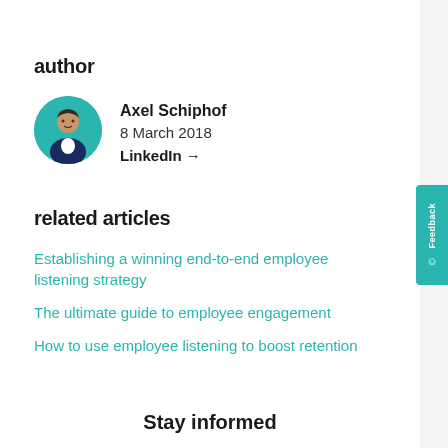author
Axel Schiphof
8 March 2018
LinkedIn →
related articles
Establishing a winning end-to-end employee listening strategy
The ultimate guide to employee engagement
How to use employee listening to boost retention
Stay informed